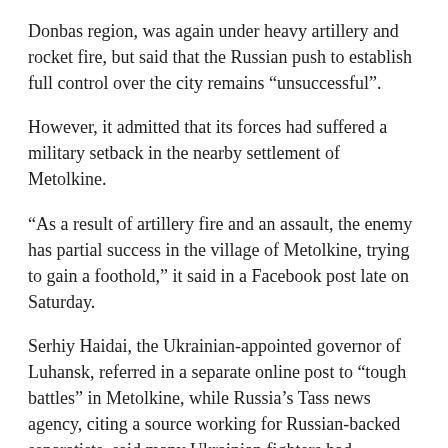Donbas region, was again under heavy artillery and rocket fire, but said that the Russian push to establish full control over the city remains “unsuccessful”.
However, it admitted that its forces had suffered a military setback in the nearby settlement of Metolkine.
“As a result of artillery fire and an assault, the enemy has partial success in the village of Metolkine, trying to gain a foothold,” it said in a Facebook post late on Saturday.
Serhiy Haidai, the Ukrainian-appointed governor of Luhansk, referred in a separate online post to “tough battles” in Metolkine, while Russia’s Tass news agency, citing a source working for Russian-backed separatists, said many Ukrainian fighters had surrendered in Metolkine.
To the northwest, several Russian missiles hit a gasworks in the Izyum district, and Russian rockets rained down on a suburb of Kharkiv, Ukraine’s second-largest city, hitting a municipal building and starting a fire in a block of flats but causing no casualties, Ukrainian authorities said.